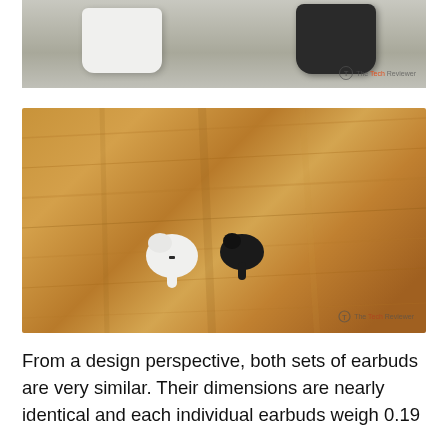[Figure (photo): Top portion of photo showing white and black earbud charging cases on a gray surface, with The Tech Reviewer watermark]
[Figure (photo): Photo of one white earbud and one black earbud placed on a wooden surface, with The Tech Reviewer watermark]
From a design perspective, both sets of earbuds are very similar. Their dimensions are nearly identical and each individual earbuds weigh 0.19